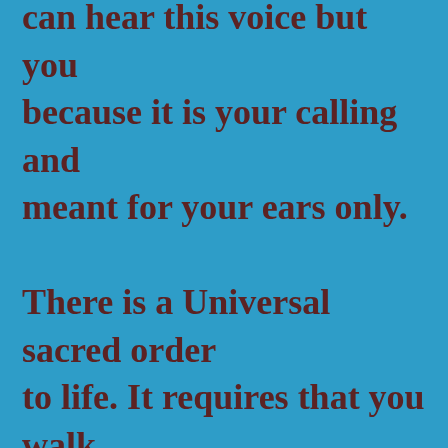can hear this voice but you because it is your calling and meant for your ears only.

There is a Universal sacred order to life. It requires that you walk your authentic path before you pursue your life purpose. When you are on the right path, it ultimately leads you to your